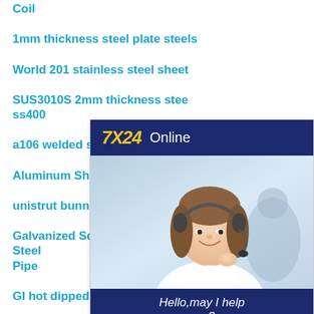Coil
1mm thickness steel plate steels
World 201 stainless steel sheet
SUS3010S 2mm thickness stee ss400
a106 welded steel pipe
Aluminum Sheet Metal Roofing
unistrut bunnings quote
Galvanized Square Pipe Square Steel Pipe
GI hot dipped coating strip
barga mild steel construction slitting
[Figure (illustration): Customer service widget with '7X24 Online' header in dark blue, photo of smiling woman with headset, 'Hello, may I help you?' text, and 'Get Latest Price' yellow button]